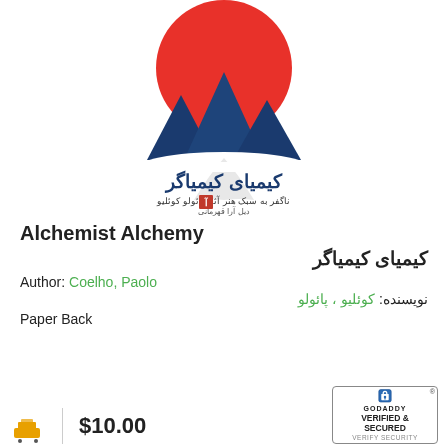[Figure (illustration): Book cover of Alchemist Alchemy (Kimiyaye Kimiyagar) showing a stylized illustration with blue mountains and a large red sun against a white sky, with Persian/Farsi text including the title and author name, and a publisher logo]
Alchemist Alchemy
کیمیای کیمیاگر
Author: Coelho, Paolo
نویسنده: کوئلیو ، پائولو
Paper Back
$10.00
[Figure (logo): GoDaddy Verified & Secured badge with lock icon]